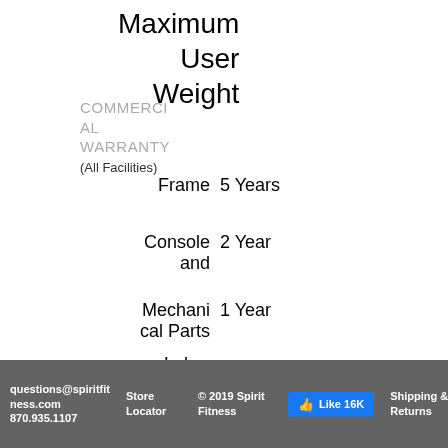Maximum User Weight
COMMERCIAL WARRANTY (All Facilities)
|  |  |
| --- | --- |
| Frame | 5 Years |
| Console and | 2 Year |
| Mechanical Parts | 1 Year |
| Labor |  |
questions@spiritfitness.com 870.935.1107 | Store Locator | © 2019 Spirit Fitness | Like 16K | Shipping & Returns